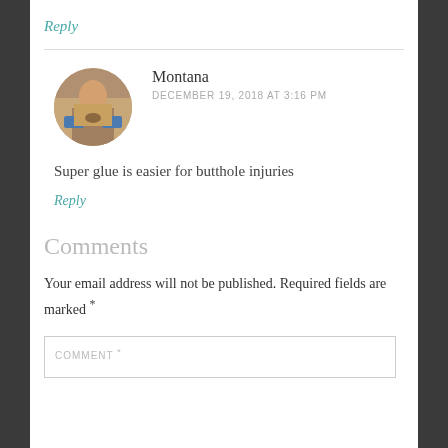Reply
Montana
DECEMBER 19, 2018 AT 3:16 PM
Super glue is easier for butthole injuries
Reply
Comments
Your email address will not be published. Required fields are marked *
COMMENT *